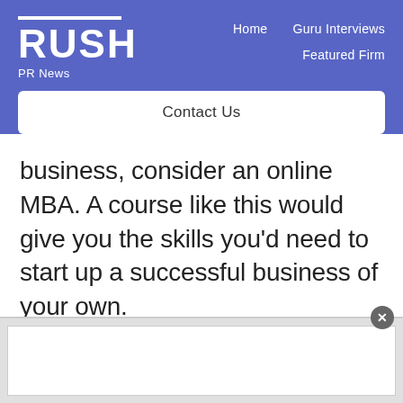RUSH PR News — Home | Guru Interviews | Featured Firm | Contact Us
business, consider an online MBA. A course like this would give you the skills you'd need to start up a successful business of your own.
[Figure (other): Advertisement banner area with close button]